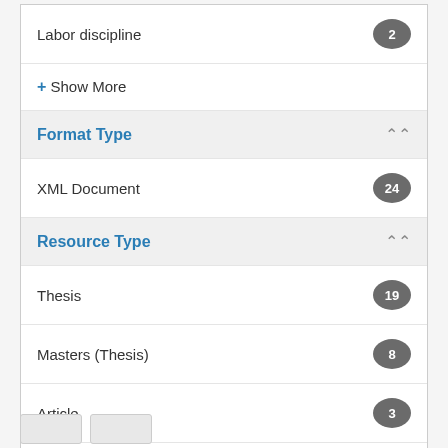Labor discipline 2
+ Show More
Format Type
XML Document 24
Resource Type
Thesis 19
Masters (Thesis) 8
Article 3
Doctoral (Thesis) 2
Mini-Dissertation 2